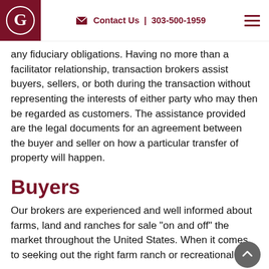Contact Us | 303-500-1959
any fiduciary obligations. Having no more than a facilitator relationship, transaction brokers assist buyers, sellers, or both during the transaction without representing the interests of either party who may then be regarded as customers. The assistance provided are the legal documents for an agreement between the buyer and seller on how a particular transfer of property will happen.
Buyers
Our brokers are experienced and well informed about farms, land and ranches for sale "on and off" the market throughout the United States. When it comes to seeking out the right farm ranch or recreational